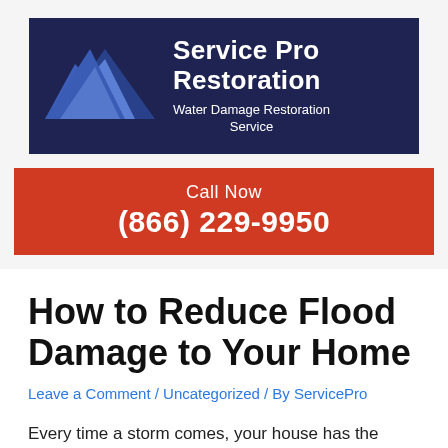[Figure (logo): Service Pro Restoration logo: dark navy background with blue geometric mountain/triangle shapes on the left, bold white text 'Service Pro Restoration' and subtitle 'Water Damage Restoration Service']
Call Now
(866) 229-9950
How to Reduce Flood Damage to Your Home
Leave a Comment / Uncategorized / By ServicePro
Every time a storm comes, your house has the potential to susceptible to flood damage. However, flood damage can be reduced if you are willing to take the necessary steps. Doing so